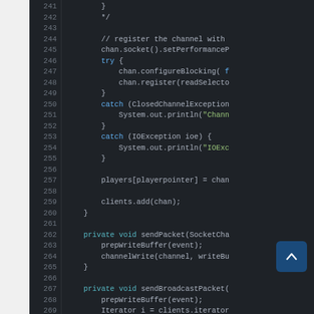[Figure (screenshot): Code editor screenshot showing Java source code lines 241-272, dark theme with syntax highlighting. Line numbers in gray on left, keywords in blue/cyan, strings in green.]